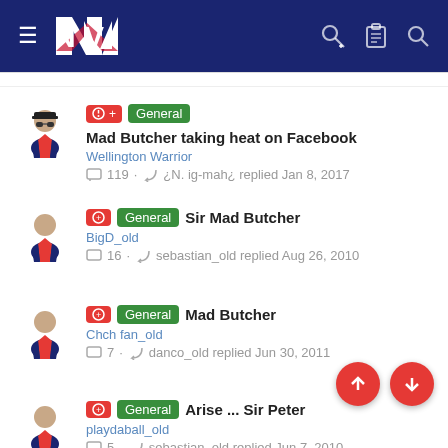NZ Warriors forum navigation bar
Mad Butcher taking heat on Facebook | Wellington Warrior | 119 replies | ¿N. ig-mah¿ replied Jan 8, 2017
Sir Mad Butcher | BigD_old | 16 replies | sebastian_old replied Aug 26, 2010
Mad Butcher | Chch fan_old | 7 replies | danco_old replied Jun 30, 2011
Arise ... Sir Peter | playdaball_old | 5 replies | sebastian_old replied Jun 7, 2010